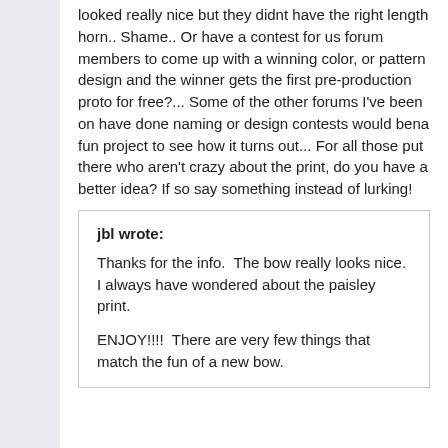looked really nice but they didnt have the right length horn.. Shame.. Or have a contest for us forum members to come up with a winning color, or pattern design and the winner gets the first pre-production proto for free?... Some of the other forums I've been on have done naming or design contests would bena fun project to see how it turns out... For all those put there who aren't crazy about the print, do you have a better idea? If so say something instead of lurking!
jbl wrote: Thanks for the info.  The bow really looks nice.  I always have wondered about the paisley print.

ENJOY!!!!  There are very few things that match the fun of a new bow.